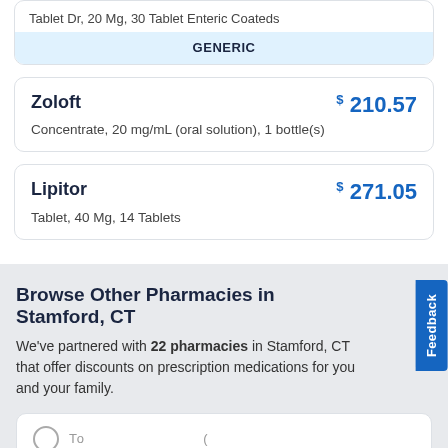Tablet Dr, 20 Mg, 30 Tablet Enteric Coateds
GENERIC
Zoloft — $210.57 — Concentrate, 20 mg/mL (oral solution), 1 bottle(s)
Lipitor — $271.05 — Tablet, 40 Mg, 14 Tablets
Browse Other Pharmacies in Stamford, CT
We've partnered with 22 pharmacies in Stamford, CT that offer discounts on prescription medications for you and your family.